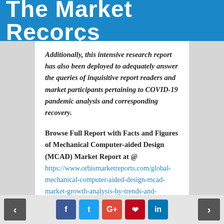The Market Records
Additionally, this intensive research report has also been deployed to adequately answer the queries of inquisitive report readers and market participants pertaining to COVID-19 pandemic analysis and corresponding recovery.
Browse Full Report with Facts and Figures of Mechanical Computer-aided Design (MCAD) Market Report at @ https://www.orbismarketreports.com/global-mechanical-computer-aided-design-mcad-market-growth-analysis-by-trends-and-forecast-2019-2025?utm_source=Puja
Latest market specific research inputs suggest that the
< f t G+ p in >